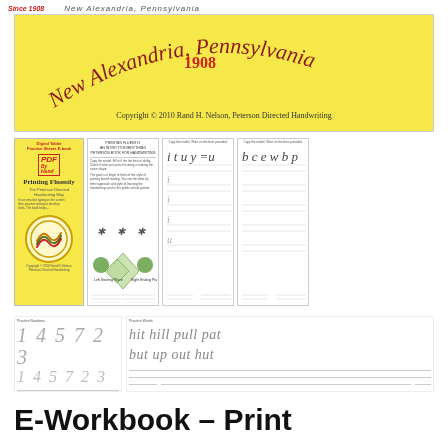Since 1908    New Alexandria, Pennsylvania
[Figure (illustration): Yellow banner with cursive text 'New Alexandria, Pennsylvania' and year '1908', copyright notice: Copyright © 2010 Rand H. Nelson, Peterson Directed Handwriting]
[Figure (illustration): Four sample pages of Peterson Directed Handwriting e-workbook: book cover (yellow, PDF by Hand, Printing Fluently), practice sheet with diagrams, cursive letter practice sheet, print letter practice sheet]
[Figure (illustration): Sample workbook pages showing handwriting exercises: numbers 1 4 5 7 2 3, cursive words 'hit hill pull pat but up out hut', text 'INSTELINETTES' with ruled lines]
E-Workbook – Print